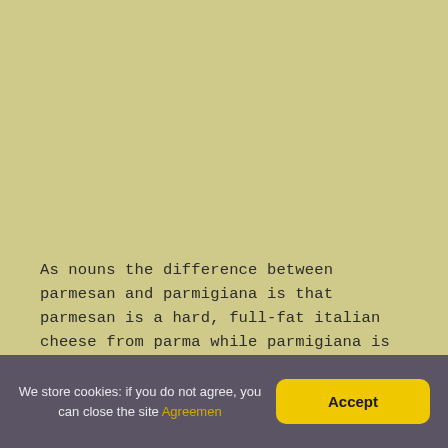As nouns the difference between parmesan and parmigiana is that parmesan is a hard, full-fat italian cheese from parma while parmigiana is (cooking|in combination) a cooking style in which a main ingredient
We store cookies: if you do not agree, you can close the site Agreemen